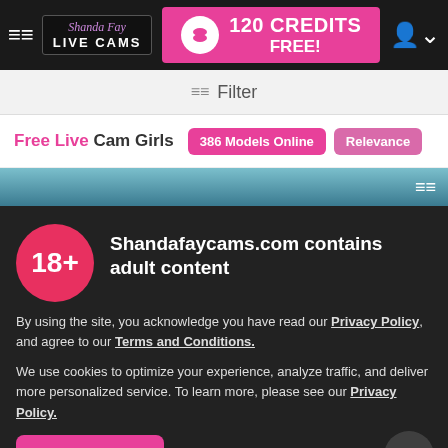≡≡ Shanda Fay LIVE CAMS | 120 CREDITS FREE!
≡≡ Filter
Free Live Cam Girls  386 Models Online  Relevance
[Figure (screenshot): Preview strip with blurred background and hamburger icon]
Shandafaycams.com contains adult content
By using the site, you acknowledge you have read our Privacy Policy, and agree to our Terms and Conditions.
We use cookies to optimize your experience, analyze traffic, and deliver more personalized service. To learn more, please see our Privacy Policy.
I AGREE